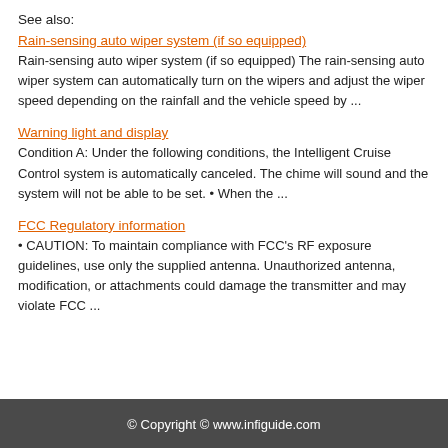See also:
Rain-sensing auto wiper system (if so equipped)
Rain-sensing auto wiper system (if so equipped) The rain-sensing auto wiper system can automatically turn on the wipers and adjust the wiper speed depending on the rainfall and the vehicle speed by ...
Warning light and display
Condition A: Under the following conditions, the Intelligent Cruise Control system is automatically canceled. The chime will sound and the system will not be able to be set. • When the ...
FCC Regulatory information
• CAUTION: To maintain compliance with FCC's RF exposure guidelines, use only the supplied antenna. Unauthorized antenna, modification, or attachments could damage the transmitter and may violate FCC ...
© Copyright © www.infiguide.com